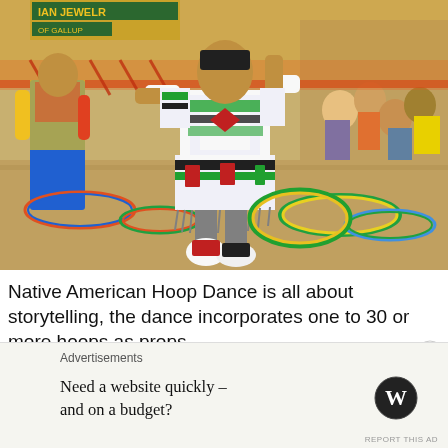[Figure (photo): Native American hoop dancer in colorful traditional regalia (white, black, green, red geometric patterns) performing outdoors on sandy ground. Multiple colorful hoops surround the dancer's feet and lie on the ground. Other dancers visible in background on left. Spectators seated on right behind an orange metal barrier fence. Background shows warm sunlit setting.]
Native American Hoop Dance is all about storytelling, the dance incorporates one to 30 or more hoops as props
Advertisements
Need a website quickly – and on a budget?